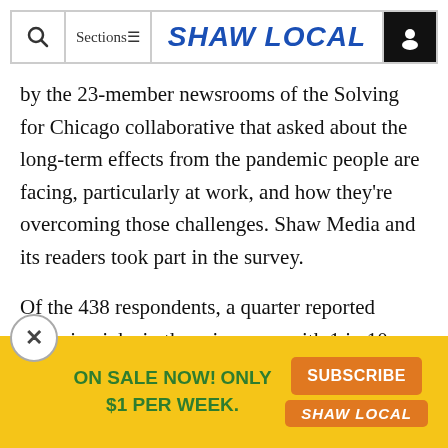Shaw Local
by the 23-member newsrooms of the Solving for Chicago collaborative that asked about the long-term effects from the pandemic people are facing, particularly at work, and how they're overcoming those challenges. Shaw Media and its readers took part in the survey.
Of the 438 respondents, a quarter reported changing jobs in the prior year, with 1 in 10 saying they got a new job in search of higher wages.
Wh
[Figure (screenshot): Advertisement banner: ON SALE NOW! ONLY $1 PER WEEK. SUBSCRIBE SHAW LOCAL button on orange background, with close X button.]